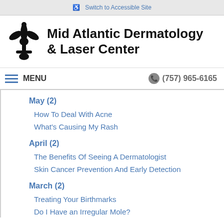Switch to Accessible Site
[Figure (logo): Mid Atlantic Dermatology & Laser Center logo with fleur-de-lis icon]
Mid Atlantic Dermatology & Laser Center
MENU  (757) 965-6165
May (2)
How To Deal With Acne
What's Causing My Rash
April (2)
The Benefits Of Seeing A Dermatologist
Skin Cancer Prevention And Early Detection
March (2)
Treating Your Birthmarks
Do I Have an Irregular Mole?